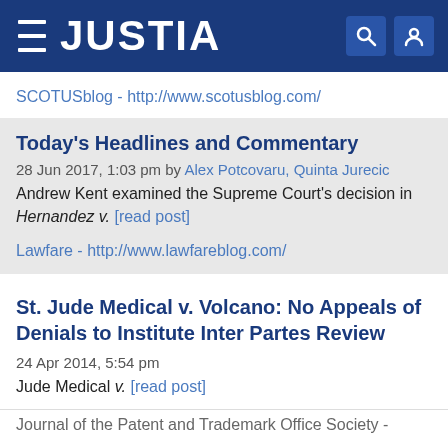JUSTIA
SCOTUSblog - http://www.scotusblog.com/
Today's Headlines and Commentary
28 Jun 2017, 1:03 pm by Alex Potcovaru, Quinta Jurecic
Andrew Kent examined the Supreme Court's decision in Hernandez v. [read post]
Lawfare - http://www.lawfareblog.com/
St. Jude Medical v. Volcano: No Appeals of Denials to Institute Inter Partes Review
24 Apr 2014, 5:54 pm
Jude Medical v. [read post]
Journal of the Patent and Trademark Office Society -